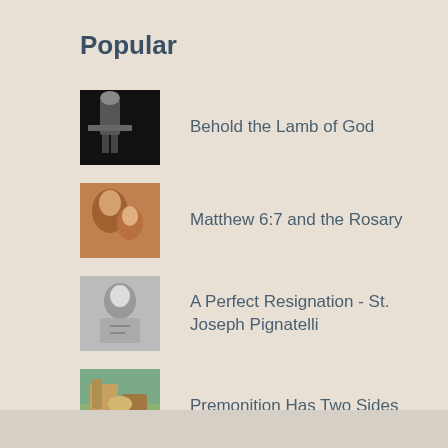Popular
Behold the Lamb of God
Matthew 6:7 and the Rosary
A Perfect Resignation - St. Joseph Pignatelli
Premonition Has Two Sides
Sheol and Lent